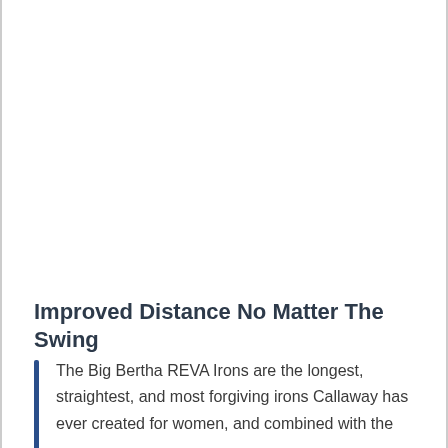Improved Distance No Matter The Swing
The Big Bertha REVA Irons are the longest, straightest, and most forgiving irons Callaway has ever created for women, and combined with the